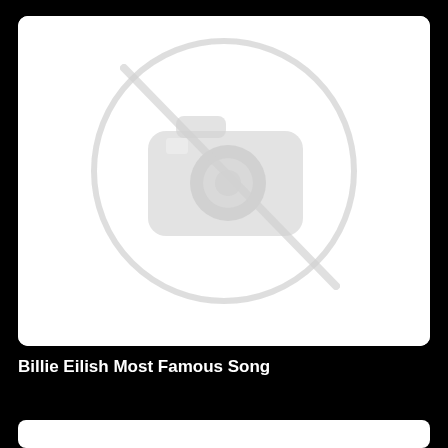[Figure (illustration): A blurred 'no image available' placeholder icon showing a camera with a prohibition slash, on a white rounded rectangle background.]
Billie Eilish Most Famous Song
[Figure (other): Bottom white card/thumbnail strip partially visible]